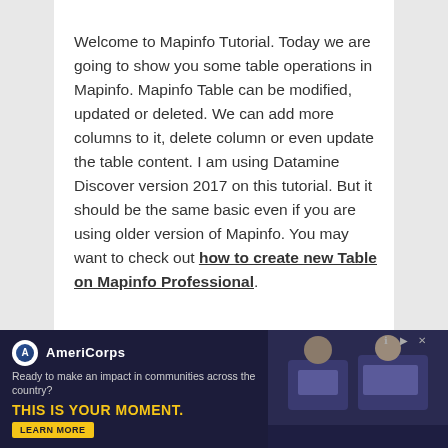Welcome to Mapinfo Tutorial. Today we are going to show you some table operations in Mapinfo. Mapinfo Table can be modified, updated or deleted. We can add more columns to it, delete column or even update the table content. I am using Datamine Discover version 2017 on this tutorial. But it should be the same basic even if you are using older version of Mapinfo. You may want to check out how to create new Table on Mapinfo Professional.
[Figure (screenshot): AmeriCorps advertisement banner: dark navy background with AmeriCorps logo, tagline 'Ready to make an impact in communities across the country?', bold yellow text 'THIS IS YOUR MOMENT.', a 'LEARN MORE' button, and a photo of people at computers on the right side.]